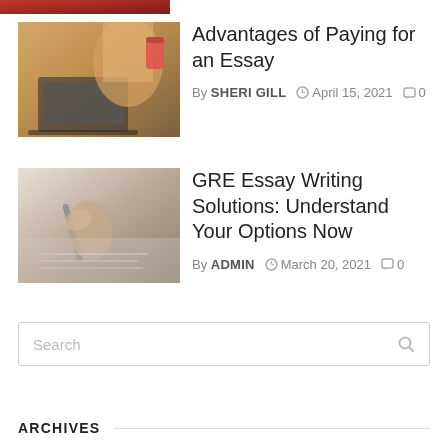[Figure (photo): Partial view of a person at a laptop with a drink can — cropped top strip]
[Figure (photo): Young woman with blonde hair working on a laptop at a wooden table with a drink can]
Advantages of Paying for an Essay
By SHERI GILL  April 15, 2021  0
[Figure (photo): Close-up of hands writing with a pen on paper]
GRE Essay Writing Solutions: Understand Your Options Now
By ADMIN  March 20, 2021  0
Search
ARCHIVES